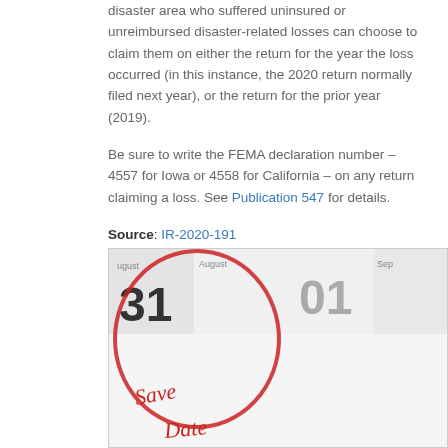disaster area who suffered uninsured or unreimbursed disaster-related losses can choose to claim them on either the return for the year the loss occurred (in this instance, the 2020 return normally filed next year), or the return for the prior year (2019).
Be sure to write the FEMA declaration number – 4557 for Iowa or 4558 for California – on any return claiming a loss. See Publication 547 for details.
Source: IR-2020-191
– Story provided by TaxingSubjects.com
[Figure (photo): A calendar showing August 31 with a red circle around it and 'Save Date' written in red script. The number 01 is visible for September.]